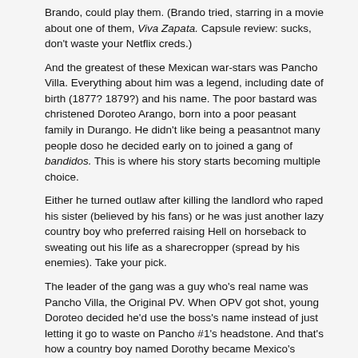Brando, could play them. (Brando tried, starring in a movie about one of them, Viva Zapata. Capsule review: sucks, don't waste your Netflix creds.)
And the greatest of these Mexican war-stars was Pancho Villa. Everything about him was a legend, including date of birth (1877? 1879?) and his name. The poor bastard was christened Doroteo Arango, born into a poor peasant family in Durango. He didn't like being a peasantnot many people doso he decided early on to joined a gang of bandidos. This is where his story starts becoming multiple choice.
Either he turned outlaw after killing the landlord who raped his sister (believed by his fans) or he was just another lazy country boy who preferred raising Hell on horseback to sweating out his life as a sharecropper (spread by his enemies). Take your pick.
The leader of the gang was a guy who's real name was Pancho Villa, the Original PV. When OPV got shot, young Doroteo decided he'd use the boss's name instead of just letting it go to waste on Pancho #1's headstone. And that's how a country boy named Dorothy became Mexico's Robin Hood and Osama bin Laden rolled into one.
[Figure (photo): Black and white historical photograph of five men standing together, wearing sombreros and bandolier ammunition belts, characteristic of Mexican revolutionary soldiers from the early 20th century. A flag or banner is partially visible in the upper right background.]